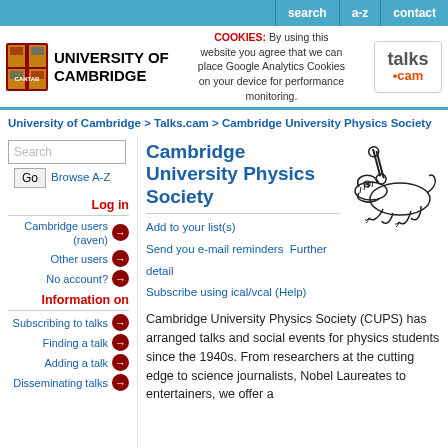search  a-z  contact
[Figure (logo): University of Cambridge crest logo with UNIVERSITY OF CAMBRIDGE text, cookies notice, and talks.cam logo]
University of Cambridge > Talks.cam > Cambridge University Physics Society
Search  Go  Browse A-Z
Log in
Cambridge users (raven)
Other users
No account?
Information on
Subscribing to talks
Finding a talk
Adding a talk
Disseminating talks
Cambridge University Physics Society
[Figure (illustration): Cartoon illustration of an alligator/crocodile]
Add to your list(s)
Send you e-mail reminders
Further detail
Subscribe using ical/vcal (Help)
Cambridge University Physics Society (CUPS) has arranged talks and social events for physics students since the 1940s. From researchers at the cutting edge to science journalists, Nobel Laureates to entertainers, we offer a